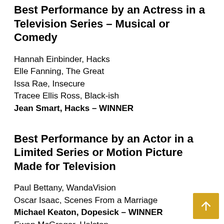Best Performance by an Actress in a Television Series – Musical or Comedy
Hannah Einbinder, Hacks
Elle Fanning, The Great
Issa Rae, Insecure
Tracee Ellis Ross, Black-ish
Jean Smart, Hacks – WINNER
Best Performance by an Actor in a Limited Series or Motion Picture Made for Television
Paul Bettany, WandaVision
Oscar Isaac, Scenes From a Marriage
Michael Keaton, Dopesick – WINNER
Ewan McGregor, Halston
Tahar Rahim, The Serpent